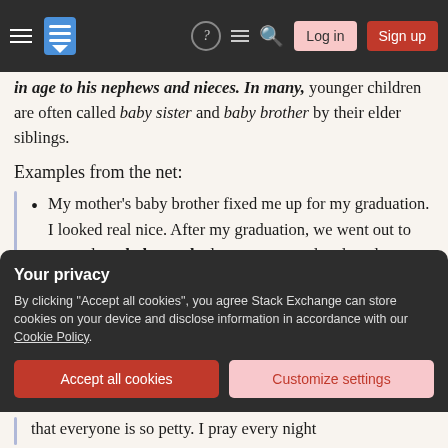Stack Exchange navigation bar with hamburger menu, logo, help, chat, search icons, Log in and Sign up buttons
in age to his nephews and nieces. In many, younger children are often called baby sister and baby brother by their elder siblings.
Examples from the net:
My mother's baby brother fixed me up for my graduation. I looked real nice. After my graduation, we went out to eat and my baby uncle drove me around and made me countless drinks to celebrate.
Source
Your privacy
By clicking "Accept all cookies", you agree Stack Exchange can store cookies on your device and disclose information in accordance with our Cookie Policy.
Accept all cookies
Customize settings
that everyone is so petty. I pray every night